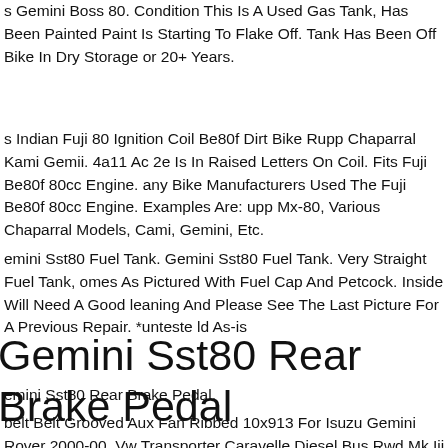s Gemini Boss 80. Condition This Is A Used Gas Tank, Has Been Painted And Paint Is Starting To Flake Off. Tank Has Been Off Bike In Dry Storage For 20+ Years.
s Indian Fuji 80 Ignition Coil Be80f Dirt Bike Rupp Chaparral Kami Gemini. 4a11 Ac 2e Is In Raised Letters On Coil. Fits Fuji Be80f 80cc Engine. Many Bike Manufacturers Used The Fuji Be80f 80cc Engine. Examples Are: Rupp Mx-80, Various Chaparral Models, Cami, Gemini, Etc.
Gemini Sst80 Fuel Tank. Gemini Sst80 Fuel Tank. Very Straight Fuel Tank, Comes As Pictured With Fuel Cap And Petcock. Inside Will Need A Good Cleaning And Please See The Last Picture For A Previous Repair. *untested Sold As-is
Gemini Sst80 Rear Brake Pedal
Gemini Sst80 Rear Brake Pedal.
belt Belt Grooved Aux Fan Ribbed 10x913 For Isuzu Gemini Rover 2000-00. Vw Transporter Caravelle Diesel Bus Rwd Mk Iii 1.7 D 1986-1992 16 42 57 Ky. Opel Astra Petrol Hatchback Fwd F T92 1.6 Si 1992-1994 20 74 101 G 16 S... Opel Astra Petrol Hatchback Fwd F T92 1.6 i 1990-...